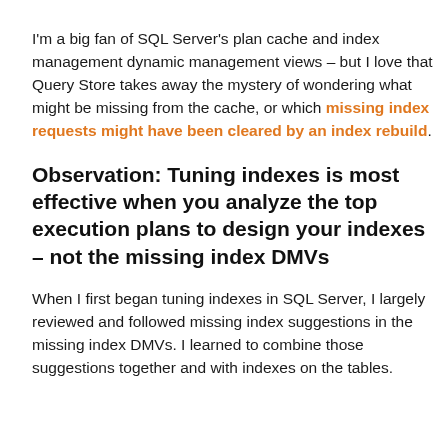I'm a big fan of SQL Server's plan cache and index management dynamic management views – but I love that Query Store takes away the mystery of wondering what might be missing from the cache, or which missing index requests might have been cleared by an index rebuild.
Observation: Tuning indexes is most effective when you analyze the top execution plans to design your indexes – not the missing index DMVs
When I first began tuning indexes in SQL Server, I largely reviewed and followed missing index suggestions in the missing index DMVs. I learned to combine those suggestions together and with indexes on the tables.